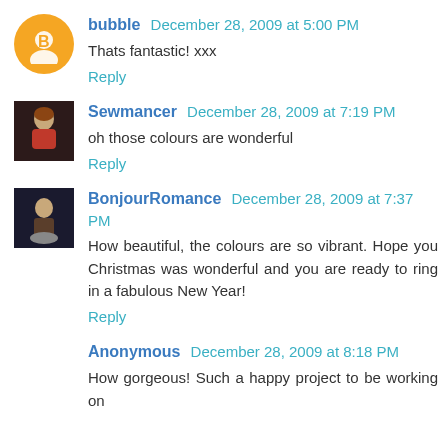bubble December 28, 2009 at 5:00 PM
Thats fantastic! xxx
Reply
Sewmancer December 28, 2009 at 7:19 PM
oh those colours are wonderful
Reply
BonjourRomance December 28, 2009 at 7:37 PM
How beautiful, the colours are so vibrant. Hope you Christmas was wonderful and you are ready to ring in a fabulous New Year!
Reply
Anonymous December 28, 2009 at 8:18 PM
How gorgeous! Such a happy project to be working on